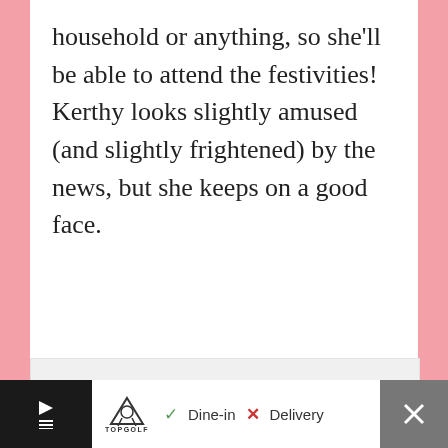household or anything, so she'll be able to attend the festivities! Kerthy looks slightly amused (and slightly frightened) by the news, but she keeps on a good face.
[Figure (other): A large light gray advertisement placeholder box with three gray loading dots centered near the bottom.]
[Figure (screenshot): A dark advertisement bar at the bottom showing Topgolf logo, play/cross icons, checkmark Dine-in, X Delivery options, blue navigation arrow button, and a close X button on the right.]